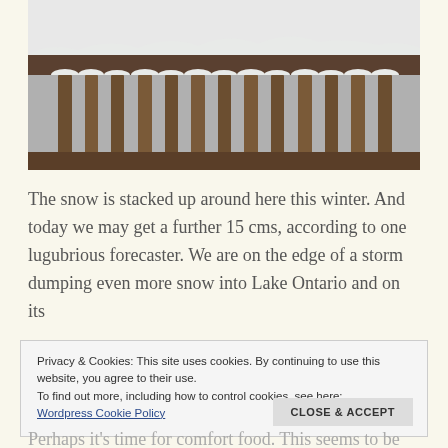[Figure (photo): Snow-covered wooden deck railing or fence with vertical slats, viewed from outside. Heavy snow is piled on top of the railings. Background is white snow and grey/brown wood.]
The snow is stacked up around here this winter. And today we may get a further 15 cms, according to one lugubrious forecaster. We are on the edge of a storm dumping even more snow into Lake Ontario and on its
Privacy & Cookies: This site uses cookies. By continuing to use this website, you agree to their use.
To find out more, including how to control cookies, see here:
Wordpress Cookie Policy
Perhaps it's time for comfort food. This seems to be